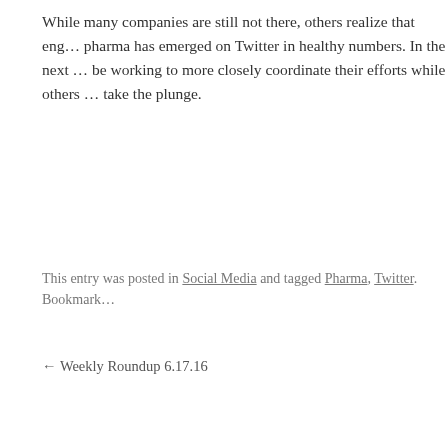While many companies are still not there, others realize that eng… pharma has emerged on Twitter in healthy numbers. In the next … be working to more closely coordinate their efforts while others … take the plunge.
This entry was posted in Social Media and tagged Pharma, Twitter. Bookmark…
← Weekly Roundup 6.17.16